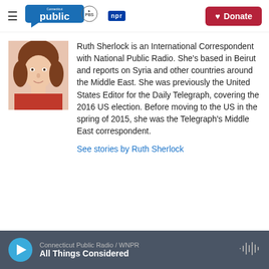Connecticut Public | PBS | NPR — Donate
[Figure (photo): Headshot photo of Ruth Sherlock, a woman with brown hair wearing a red top]
Ruth Sherlock is an International Correspondent with National Public Radio. She's based in Beirut and reports on Syria and other countries around the Middle East. She was previously the United States Editor for the Daily Telegraph, covering the 2016 US election. Before moving to the US in the spring of 2015, she was the Telegraph's Middle East correspondent.
See stories by Ruth Sherlock
Connecticut Public Radio / WNPR — All Things Considered